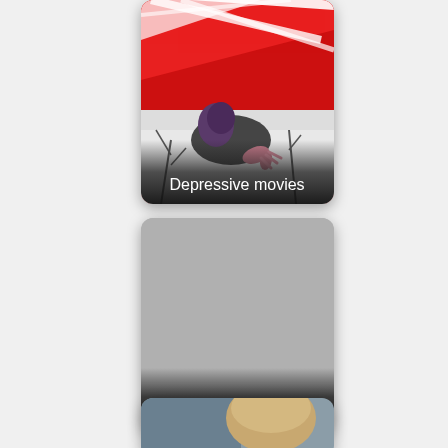[Figure (illustration): Movie category card showing a dark illustrated figure crawling on snowy ground with red streaks in the background, labeled 'Depressive movies']
Depressive movies
[Figure (illustration): Movie category card with a gray placeholder image, labeled 'Movies about sisters']
Movies about sisters
[Figure (photo): Partially visible movie category card at the bottom of the page showing a person wearing a tan/beige knit hat]